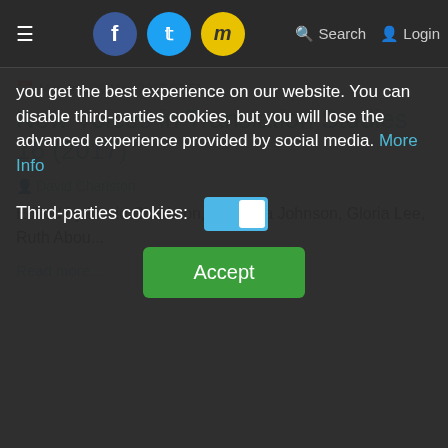≡  f  t  m  🔍 Search  👤 Login
you get the best experience on our website. You can disable third-parties cookies, but you will lose the advanced experience provided by social media. More Info
Third-parties cookies: [toggle]
Accept
Read more...
Monday, 29 May 2017 07:51
New Voices in Translation Studies 16 (2017)
David Charlston
Edited by David Charlston, Rebecca Johnson, Gloria Lee, Ruth Abou...
Read more...